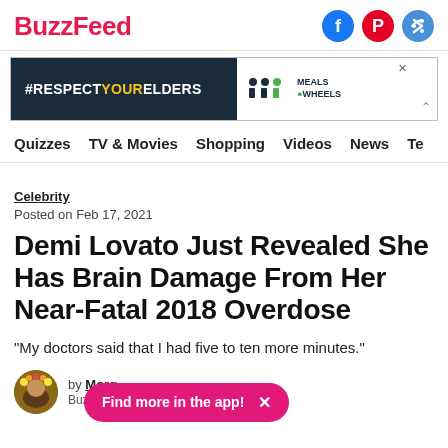BuzzFeed
[Figure (screenshot): Advertisement banner: #RESPECTYOURELDERS with Meals on Wheels logo]
Quizzes  TV & Movies  Shopping  Videos  News  Te
Celebrity
Posted on Feb 17, 2021
Demi Lovato Just Revealed She Has Brain Damage From Her Near-Fatal 2018 Overdose
"My doctors said that I had five to ten more minutes."
by Morg… BuzzFeed Staff
Find more in the app!